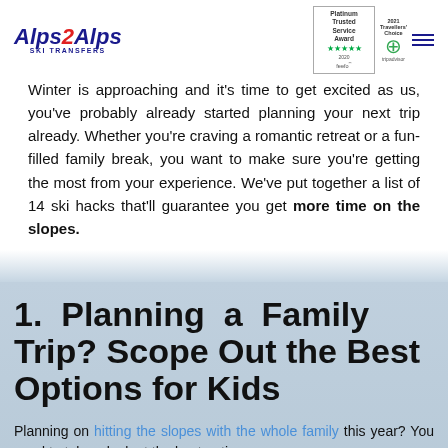Alps2Alps Ski Transfers — logo and award badges
Winter is approaching and it's time to get excited as us, you've probably already started planning your next trip already. Whether you're craving a romantic retreat or a fun-filled family break, you want to make sure you're getting the most from your experience. We've put together a list of 14 ski hacks that'll guarantee you get more time on the slopes.
1. Planning a Family Trip? Scope Out the Best Options for Kids
Planning on hitting the slopes with the whole family this year? You need to take a look at the best options